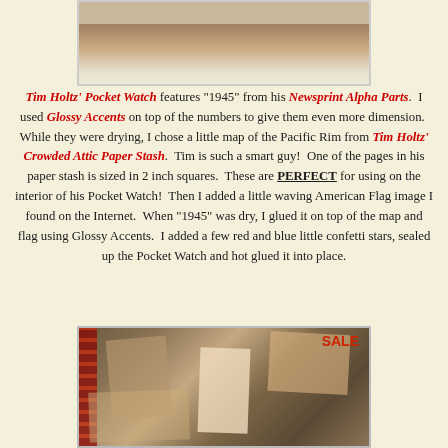[Figure (photo): Top portion of a photo showing what appears to be a pocket watch or similar object, cropped at top of page]
Tim Holtz' Pocket Watch features "1945" from his Newsprint Alpha Parts.  I used Glossy Accents on top of the numbers to give them even more dimension.  While they were drying, I chose a little map of the Pacific Rim from Tim Holtz' Crowded Attic Paper Stash.  Tim is such a smart guy!  One of the pages in his paper stash is sized in 2 inch squares.  These are PERFECT for using on the interior of his Pocket Watch!  Then I added a little waving American Flag image I found on the Internet.  When "1945" was dry, I glued it on top of the map and flag using Glossy Accents.  I added a few red and blue little confetti stars, sealed up the Pocket Watch and hot glued it into place.
[Figure (photo): Bottom photo showing a collage or craft project with vintage papers, film strips, old photographs, and ephemera including what appears to be a SALE sign]